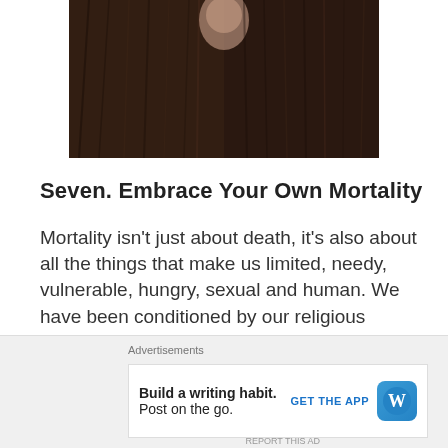[Figure (photo): Partial photo of person(s) with dark hair, cropped at top of the page]
Seven.  Embrace Your Own Mortality
Mortality isn't just about death, it's also about all the things that make us limited, needy, vulnerable, hungry, sexual and human.  We have been conditioned by our religious heritage and by societal mores to shame many of the things that come with our mortality.  Instead of shaming, embrace.
Advertisements
Build a writing habit. Post on the go.
GET THE APP